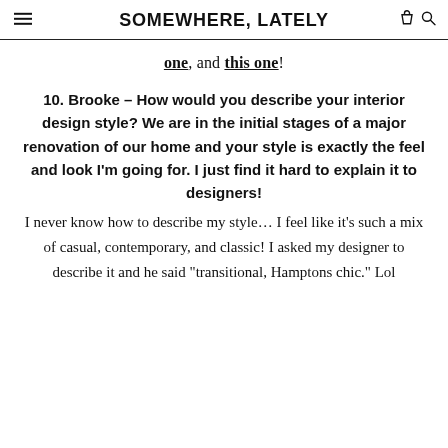SOMEWHERE, LATELY
one, and this one!
10. Brooke – How would you describe your interior design style? We are in the initial stages of a major renovation of our home and your style is exactly the feel and look I'm going for. I just find it hard to explain it to designers!
I never know how to describe my style… I feel like it's such a mix of casual, contemporary, and classic! I asked my designer to describe it and he said "transitional, Hamptons chic." Lol